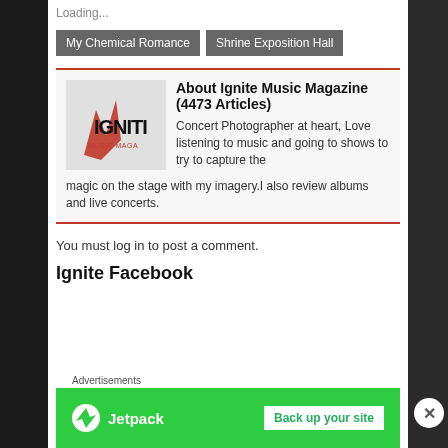Loading...
My Chemical Romance
Shrine Exposition Hall
About Ignite Music Magazine (4473 Articles)
[Figure (logo): Ignite Music Magazine logo in black and red]
Concert Photographer at heart, Love listening to music and going to shows to try to capture the magic on the stage with my imagery.I also review albums and live concerts.
You must log in to post a comment.
Ignite Facebook
Advertisements
[Figure (screenshot): Jetpack advertisement banner - Back up your site]